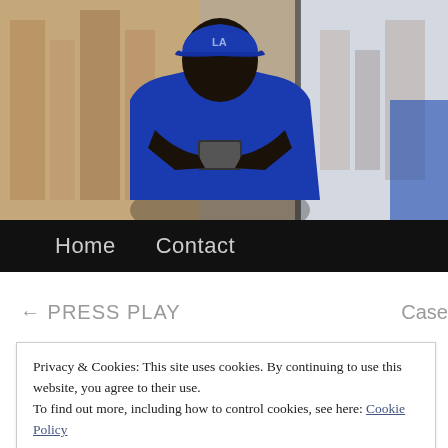[Figure (photo): A person wearing a blue LA Dodgers cap and blue t-shirt, looking at their phone, seated near large windows with city buildings visible in the background.]
Home
Contact
← PRESS PLAY
Case
Privacy & Cookies: This site uses cookies. By continuing to use this website, you agree to their use.
To find out more, including how to control cookies, see here: Cookie Policy
Close and accept